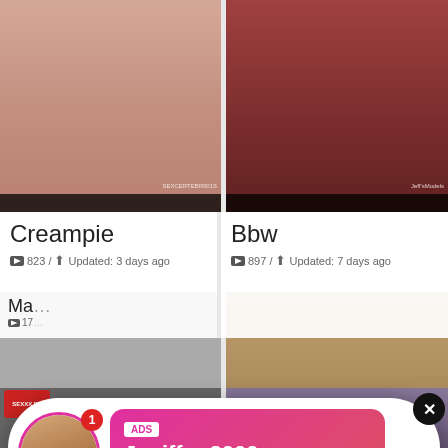[Figure (screenshot): Adult content website screenshot showing video thumbnail categories with two ad overlays: a pink live chat notification for Jeniffer 2000 and a missed call audio ad from Eliza]
Creampie
▶ 823 / ⬆ Updated: 3 days ago
Bbw
▶ 897 / ⬆ Updated: 7 days ago
ADS Jeniffer 2000 (00:12) LIVE
ADS (1)Missed Call from Eliza pleeease call me back.. I miss you! 0:00 3:23